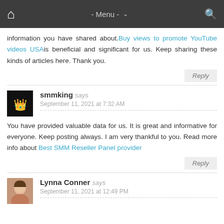Home - Menu - (search)
information you have shared about. Buy views to promote YouTube videos USA is beneficial and significant for us. Keep sharing these kinds of articles here. Thank you.
Reply
smmking says
September 11, 2021 at 7:32 AM
You have provided valuable data for us. It is great and informative for everyone. Keep posting always. I am very thankful to you. Read more info about Best SMM Reseller Panel provider
Reply
Lynna Conner says
September 11, 2021 at 12:49 PM